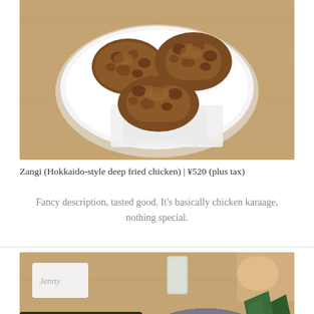[Figure (photo): Overhead photo of Zangi (Hokkaido-style deep fried chicken) pieces in a white bowl on a wooden table]
Zangi (Hokkaido-style deep fried chicken) | ¥520 (plus tax)
Fancy description, tasted good. It's basically chicken karaage, nothing special.
[Figure (photo): Overhead photo of tsukemen ramen with noodles in a bowl, a separate dipping broth bowl with orange-brown soup, halved soft-boiled eggs, nori seaweed, and other toppings on a wooden table. A card labeled 'Jenny' is visible.]